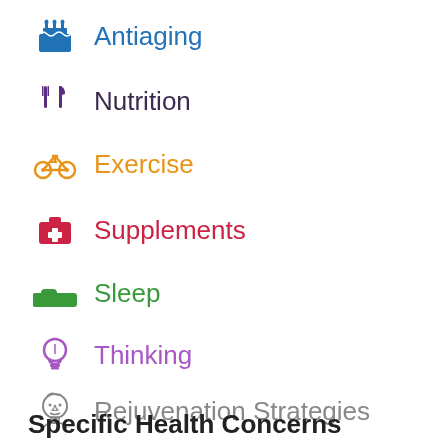Antiaging
Nutrition
Exercise
Supplements
Sleep
Thinking
Rejuvenation Strategies
Specific Health Concerns